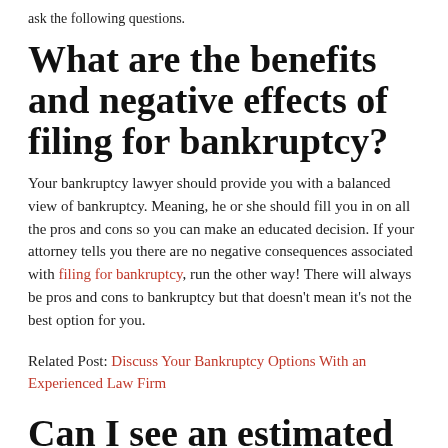ask the following questions.
What are the benefits and negative effects of filing for bankruptcy?
Your bankruptcy lawyer should provide you with a balanced view of bankruptcy. Meaning, he or she should fill you in on all the pros and cons so you can make an educated decision. If your attorney tells you there are no negative consequences associated with filing for bankruptcy, run the other way! There will always be pros and cons to bankruptcy but that doesn't mean it's not the best option for you.
Related Post: Discuss Your Bankruptcy Options With an Experienced Law Firm
Can I see an estimated